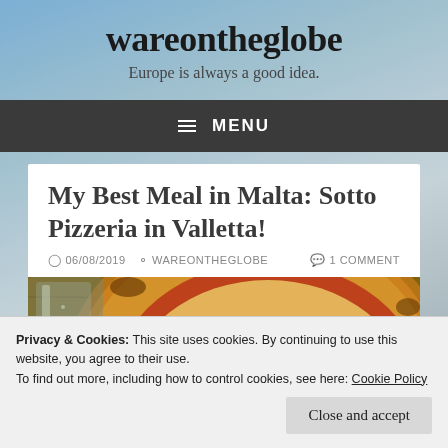wareontheglobe
Europe is always a good idea.
≡  MENU
My Best Meal in Malta: Sotto Pizzeria in Valletta!
06/08/2019   WAREONTHEGLOBE   1 COMMENT
[Figure (photo): Close-up photo of a pizza with tomato sauce and cheese toppings on a wooden surface, with a glass visible on the left side.]
Privacy & Cookies: This site uses cookies. By continuing to use this website, you agree to their use.
To find out more, including how to control cookies, see here: Cookie Policy
Close and accept